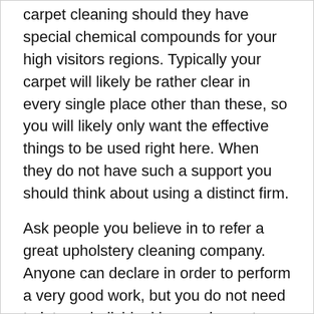carpet cleaning should they have special chemical compounds for your high visitors regions. Typically your carpet will likely be rather clear in every single place other than these, so you will likely only want the effective things to be used right here. When they do not have such a support you should think about using a distinct firm.
Ask people you believe in to refer a great upholstery cleaning company. Anyone can declare in order to perform a very good work, but you do not need to let any individual in your home to perform such a fine job until you know they may do a great job. Talk with friends and family members to learn should they suggest any individual in your area.
Don't just call a specialist carpet more clean in. Make sure they come in and do the right type of cleaning. Let them know about what types of damage your carpets and rugs suffers, be it dirt and grime, contaminants, staining, household pets, youngsters or simply substantial traffic. This will help your skilled pick the best form of washing...